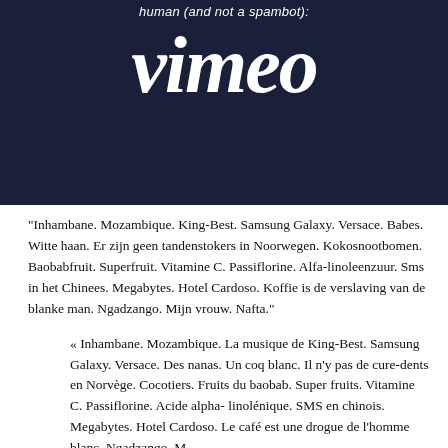[Figure (logo): Vimeo logo in white italic script on dark navy background, with partial text 'human (and not a spambot):' above it]
“Inhambane. Mozambique. King-Best. Samsung Galaxy. Versace. Babes. Witte haan. Er zijn geen tandenstokers in Noorwegen. Kokosnootbomen. Baobabfruit. Superfruit. Vitamine C. Passiflorine. Alfa-linoleenzuur. Sms in het Chinees. Megabytes. Hotel Cardoso. Koffie is de verslaving van de blanke man. Ngadzango. Mijn vrouw. Nafta.”
« Inhambane. Mozambique. La musique de King-Best. Samsung Galaxy. Versace. Des nanas. Un coq blanc. Il n’y pas de cure-dents en Norvège. Cocotiers. Fruits du baobab. Super fruits. Vitamine C. Passiflorine. Acide alpha-linolénique. SMS en chinois. Megabytes. Hotel Cardoso. Le café est une drogue de l’homme blanc. Ngadzango. M...